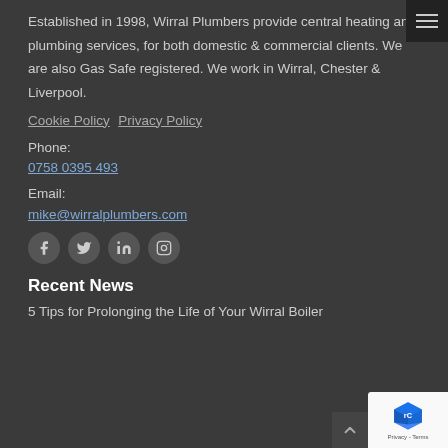Established in 1998, Wirral Plumbers provide central heating and plumbing services, for both domestic & commercial clients. We are also Gas Safe registered. We work in Wirral, Chester & Liverpool.
Cookie Policy  Privacy Policy
Phone:
0758 0395 493
Email:
mike@wirralplumbers.com
[Figure (infographic): Four circular social media icons: Facebook, Twitter, LinkedIn, Instagram]
Recent News
5 Tips for Prolonging the Life of Your Wirral Boiler